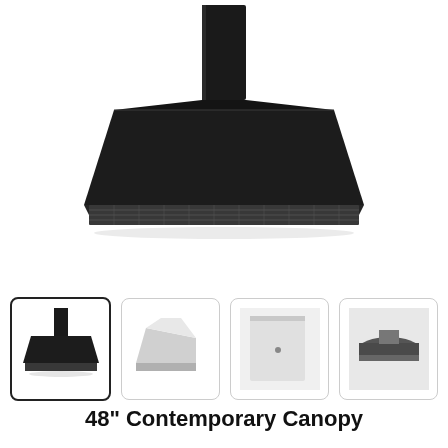[Figure (photo): Black contemporary canopy range hood, front-angled view showing trapezoidal black body with filter visible at bottom, with chimney extension rising upward against white background.]
[Figure (photo): Thumbnail 1: Black canopy range hood, front-left angle view.]
[Figure (photo): Thumbnail 2: White/silver range hood, side view.]
[Figure (photo): Thumbnail 3: White/silver range hood components, close-up.]
[Figure (photo): Thumbnail 4: Dark grey range hood, underside view.]
48" Contemporary Canopy Hood for up to 300 CFM